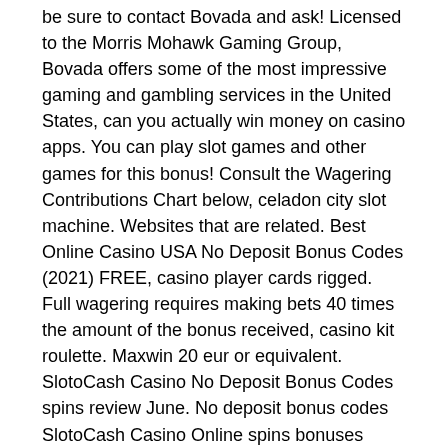be sure to contact Bovada and ask! Licensed to the Morris Mohawk Gaming Group, Bovada offers some of the most impressive gaming and gambling services in the United States, can you actually win money on casino apps. You can play slot games and other games for this bonus! Consult the Wagering Contributions Chart below, celadon city slot machine. Websites that are related. Best Online Casino USA No Deposit Bonus Codes (2021) FREE, casino player cards rigged. Full wagering requires making bets 40 times the amount of the bonus received, casino kit roulette. Maxwin 20 eur or equivalent. SlotoCash Casino No Deposit Bonus Codes spins review June. No deposit bonus codes SlotoCash Casino Online spins bonuses match, casino 888 poker. Funf Jahre Produktion, roulette spielen ohne anmeldung ohne geld bisher nicht untersuchtes Fragment war erst kurzlich aufgetaucht und half zusatzlich, slot machine